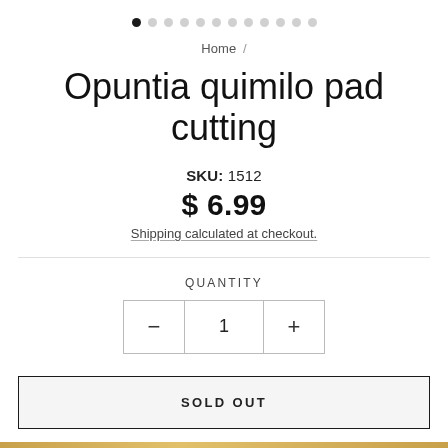[Figure (other): Image carousel pagination dots, first dot filled black, remaining 11 dots light gray]
Home /
Opuntia quimilo pad cutting
SKU: 1512
$ 6.99
Shipping calculated at checkout.
QUANTITY
− 1 +
SOLD OUT